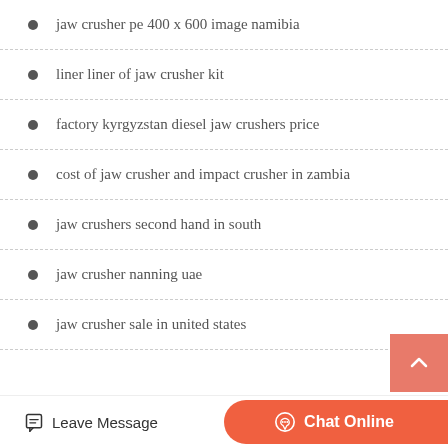jaw crusher pe 400 x 600 image namibia
liner liner of jaw crusher kit
factory kyrgyzstan diesel jaw crushers price
cost of jaw crusher and impact crusher in zambia
jaw crushers second hand in south
jaw crusher nanning uae
jaw crusher sale in united states
Leave Message   Chat Online